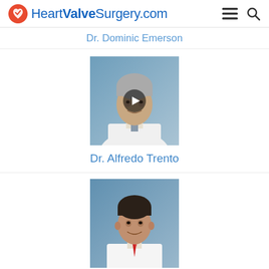HeartValveSurgery.com
Dr. Dominic Emerson
[Figure (photo): Professional headshot of Dr. Alfredo Trento, an older man with gray hair wearing a white lab coat, with a video play button overlay. Blue background.]
Dr. Alfredo Trento
[Figure (photo): Professional headshot of Dominick Megna, a younger man with dark hair wearing a white lab coat and red tie. Blue background.]
Dominick Megna